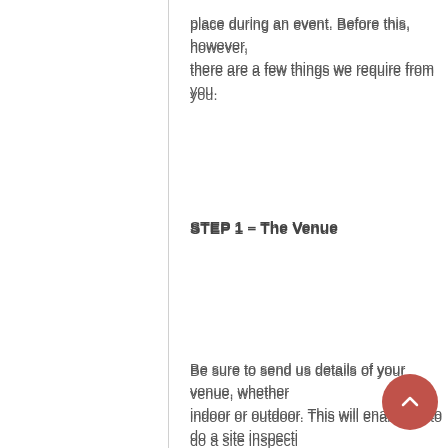place during an event. Before this, however, there are a few things we require from you.
STEP 1 – The Venue
Be sure to send us details of your venue, whether indoor or outdoor. This will enable us to do a site inspection variables to rigging requirements such as ceiling height a
STEP 2 – Entertainment
If you have booked entertainment for your event, the boo supply you with a Technical Rider of the artist or band. Th supplier to understand the stage size required as well as are having an awards dinner let us know the maximum nu